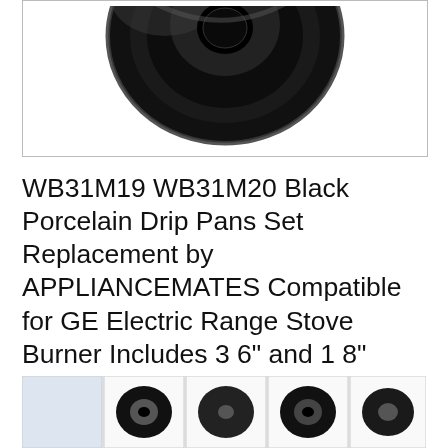[Figure (photo): Black porcelain drip pan (round, with center hole) on white background, partially cropped at top]
WB31M19 WB31M20 Black Porcelain Drip Pans Set Replacement by APPLIANCEMATES Compatible for GE Electric Range Stove Burner Includes 3 6" and 1 8" Burner Drip Pans
#ad
As an Amazon Associate I earn from qualifying purchases. This website uses the only necessary cookies to ensure you get the best experience on our website. More information
[Figure (screenshot): Thumbnail strip showing small product images at the bottom of the page]